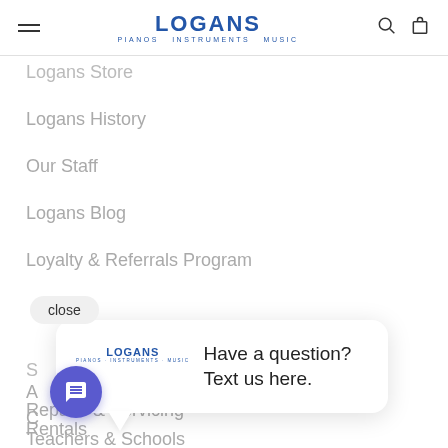LOGANS PIANOS INSTRUMENTS MUSIC
Logans History
Our Staff
Logans Blog
Loyalty & Referrals Program
close
[Figure (screenshot): Chat widget popup with Logans logo and text: Have a question? Text us here.]
Repairs & Servicing
Teachers & Schools
Rentals